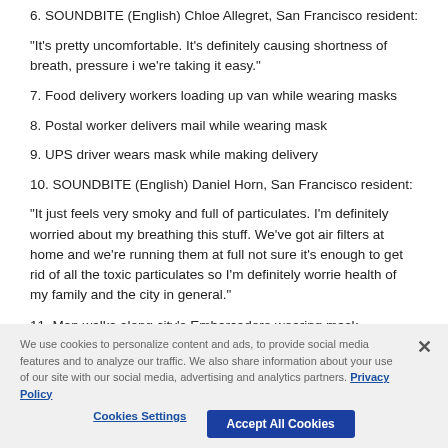6. SOUNDBITE (English) Chloe Allegret, San Francisco resident:
"It's pretty uncomfortable. It's definitely causing shortness of breath, pressure i we're taking it easy."
7. Food delivery workers loading up van while wearing masks
8. Postal worker delivers mail while wearing mask
9. UPS driver wears mask while making delivery
10. SOUNDBITE (English) Daniel Horn, San Francisco resident:
"It just feels very smoky and full of particulates. I'm definitely worried about my breathing this stuff. We've got air filters at home and we're running them at full not sure it's enough to get rid of all the toxic particulates so I'm definitely worrie health of my family and the city in general."
11. Man walks along city's Embarcadero wearing mask
12. Embarcadero cleaning crew rides by on bicycle while wearing mask
We use cookies to personalize content and ads, to provide social media features and to analyze our traffic. We also share information about your use of our site with our social media, advertising and analytics partners. Privacy Policy